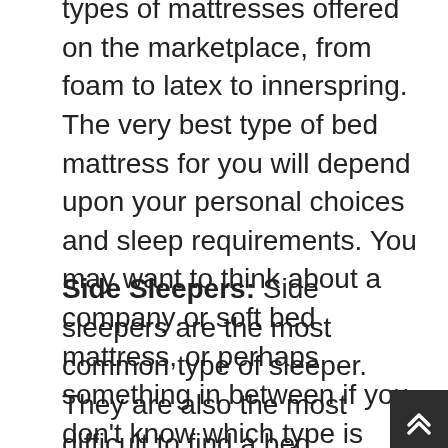types of mattresses offered on the marketplace, from foam to latex to innerspring. The very best type of bed mattress for you will depend upon your personal choices and sleep requirements. You may want to think about a company or soft bed mattress, or perhaps something in between if you don't know which type is best for you.
Side Sleepers: Side sleepers are the most common type of sleeper. They are also the most difficult to find a bed mattress for. The very best bed mattress for side sleepers ought to be firm sufficient to support their weight, but soft enough to provide convenience.
The very best bed mattress for side sleepers is one that is firm enough to support their weight, however soft enough to offer convenience.